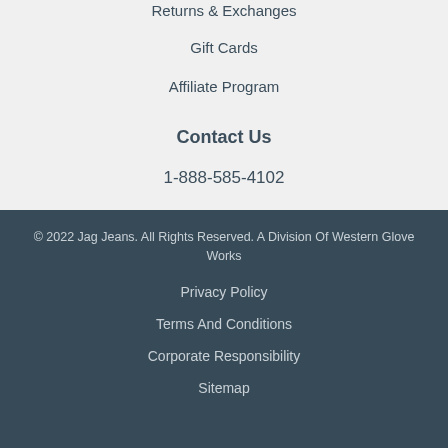Returns & Exchanges
Gift Cards
Affiliate Program
Contact Us
1-888-585-4102
© 2022 Jag Jeans. All Rights Reserved. A Division Of Western Glove Works
Privacy Policy
Terms And Conditions
Corporate Responsibility
Sitemap